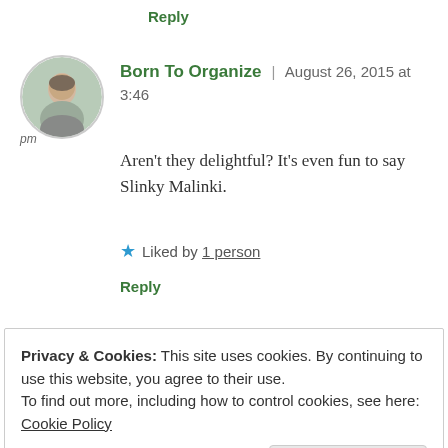Reply
[Figure (photo): Circular avatar photo of a woman smiling, with gray border]
pm
Born To Organize | August 26, 2015 at 3:46 pm
Aren't they delightful? It's even fun to say Slinky Malinki.
★ Liked by 1 person
Reply
[Figure (photo): Partial circular avatar photo at bottom of page]
Privacy & Cookies: This site uses cookies. By continuing to use this website, you agree to their use.
To find out more, including how to control cookies, see here: Cookie Policy
Close and accept